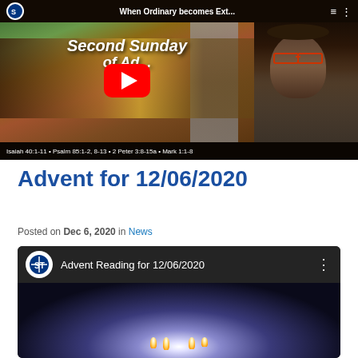[Figure (screenshot): YouTube video thumbnail showing 'When Ordinary becomes Ext...' with text 'Second Sunday of Advent' overlaid on a painting of biblical figures, with a woman wearing glasses visible on the right side]
Advent for 12/06/2020
Posted on Dec 6, 2020 in News
[Figure (screenshot): YouTube video embed showing 'Advent Reading for 12/06/2020' with a dark background showing candles]